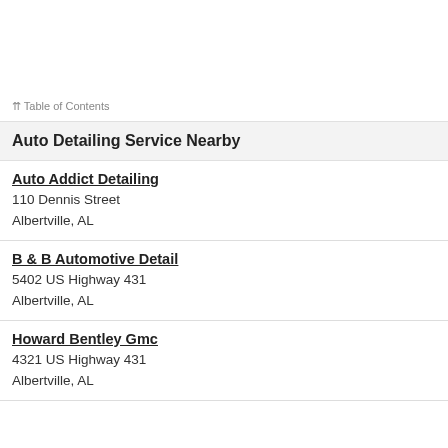⇈ Table of Contents
Auto Detailing Service Nearby
Auto Addict Detailing
110 Dennis Street
Albertville, AL
B & B Automotive Detail
5402 US Highway 431
Albertville, AL
Howard Bentley Gmc
4321 US Highway 431
Albertville, AL